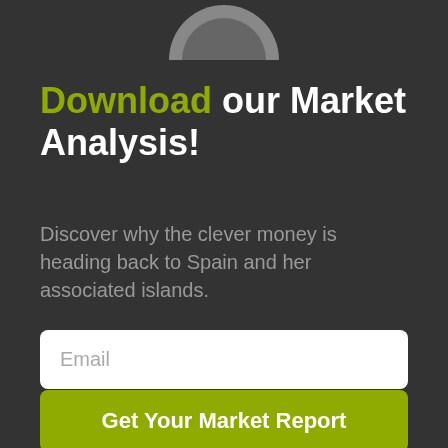[Figure (illustration): Partial circular logo or graphic at the top center of the page, gray colored, cropped at top edge]
Download our Market Analysis!
Discover why the clever money is heading back to Spain and her associated islands.
Email
Get Your Market Report